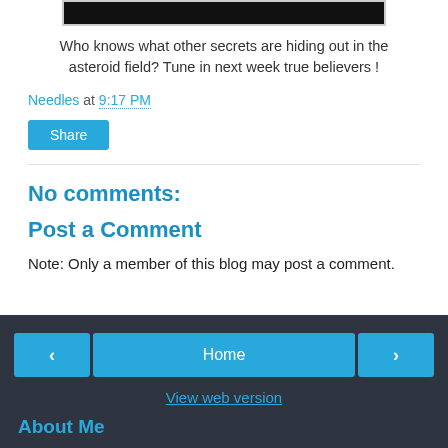[Figure (photo): Black image/screenshot at top of page, partially visible]
Who knows what other secrets are hiding out in the asteroid field? Tune in next week true believers !
Needles at 9:17 PM
Share
No comments:
Post a Comment
Note: Only a member of this blog may post a comment.
< Home > View web version About Me